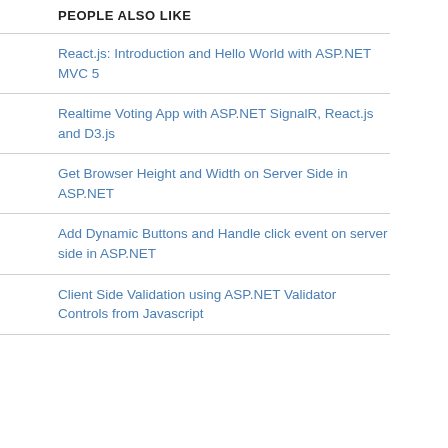PEOPLE ALSO LIKE
React.js: Introduction and Hello World with ASP.NET MVC 5
Realtime Voting App with ASP.NET SignalR, React.js and D3.js
Get Browser Height and Width on Server Side in ASP.NET
Add Dynamic Buttons and Handle click event on server side in ASP.NET
Client Side Validation using ASP.NET Validator Controls from Javascript